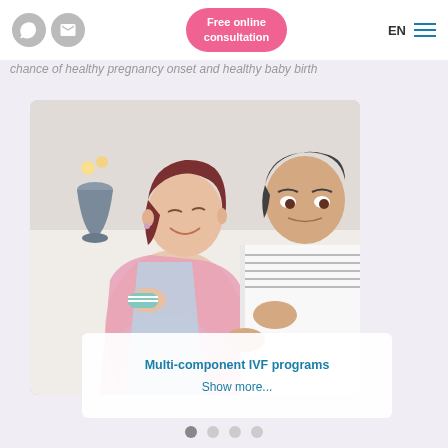Free online consultation | EN
chance of healthy pregnancy onset and healthy baby birth
[Figure (photo): A happy pregnant couple sitting together on a sofa, the woman holding small baby socks while smiling, the man leaning close affectionately]
Multi-component IVF programs
Show more...